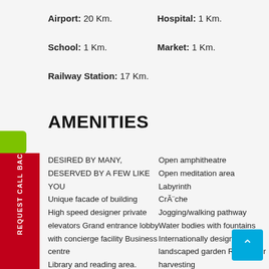Airport: 20 Km.
Hospital: 1 Km.
School: 1 Km.
Market: 1 Km.
Railway Station: 17 Km.
AMENITIES
DESIRED BY MANY, DESERVED BY A FEW LIKE YOU Unique facade of building High speed designer private elevators Grand entrance lobby with concierge facility Business centre Library and reading area. Cafeteria
Open amphitheatre Open meditation area Labyrinth Crèche Jogging/walking pathway Water bodies with fountains Internationally designed landscaped garden Rain water harvesting